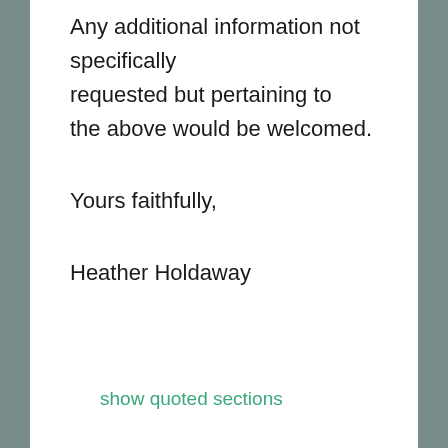Any additional information not specifically requested but pertaining to the above would be welcomed.
Yours faithfully,
Heather Holdaway
show quoted sections